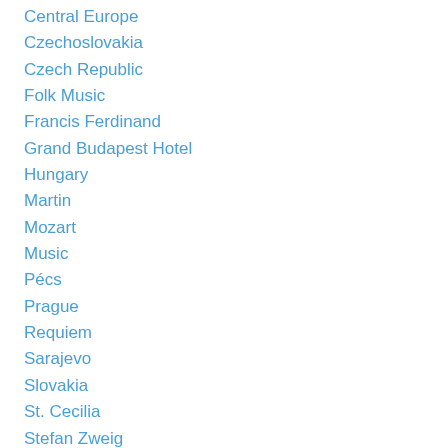Central Europe
Czechoslovakia
Czech Republic
Folk Music
Francis Ferdinand
Grand Budapest Hotel
Hungary
Martin
Mozart
Music
Pécs
Prague
Requiem
Sarajevo
Slovakia
St. Cecilia
Stefan Zweig
The World Of Yesterday
Vienna
World War I